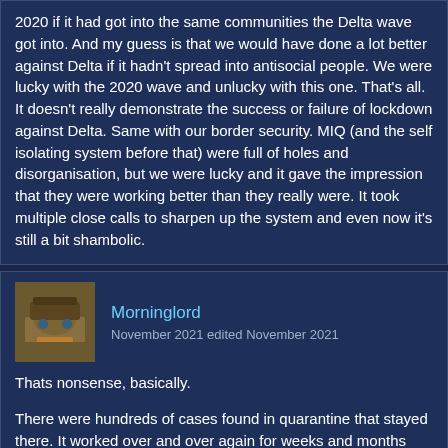2020 if it had got into the same communities the Delta wave got into. And my guess is that we would have done a lot better against Delta if it hadn't spread into antisocial people. We were lucky with the 2020 wave and unlucky with this one. That's all. It doesn't really demonstrate the success or failure of lockdown against Delta. Same with our border security. MIQ (and the self isolating system before that) were full of holes and disorganisation, but we were lucky and it gave the impression that they were working better than they really were. It took multiple close calls to sharpen up the system and even now it's still a bit shambolic.
Morninglord
November 2021 edited November 2021
Thats nonsense, basically.
There were hundreds of cases found in quarantine that stayed there. It worked over and over again for weeks and months and years. The vast majority of overseas cases were captured by quarantine. Thats an incredible success rate.